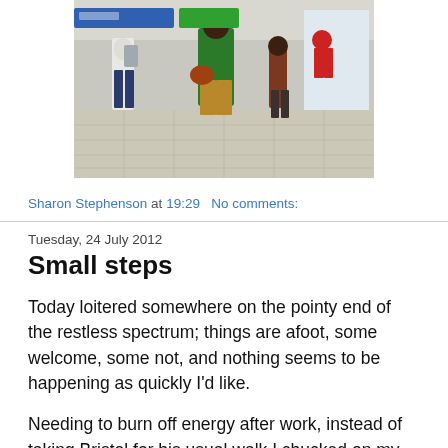[Figure (photo): Photo of people walking through what appears to be a transit station or airport concourse. A tall person in a green shirt, shorts, and sandals is prominent in the center, carrying a bag and looking down. Other people and a sports advertisement poster are visible in the background.]
Sharon Stephenson at 19:29   No comments:
Tuesday, 24 July 2012
Small steps
Today loitered somewhere on the pointy end of the restless spectrum; things are afoot, some welcome, some not, and nothing seems to be happening as quickly I’d like.
Needing to burn off energy after work, instead of taking Bristol for his usual walk I chucked on my running shoes and